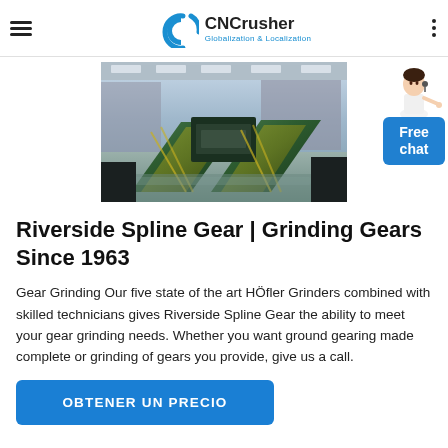CNCrusher Globalization & Localization
[Figure (photo): Industrial gear grinding machinery in a large factory floor, showing green machine conveyors and equipment under high-bay lighting.]
Riverside Spline Gear | Grinding Gears Since 1963
Gear Grinding Our five state of the art HÖfler Grinders combined with skilled technicians gives Riverside Spline Gear the ability to meet your gear grinding needs. Whether you want ground gearing made complete or grinding of gears you provide, give us a call.
OBTENER UN PRECIO